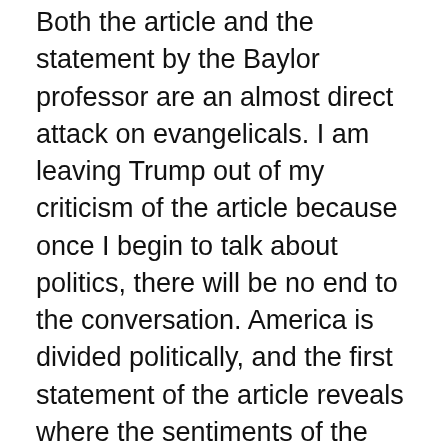Both the article and the statement by the Baylor professor are an almost direct attack on evangelicals. I am leaving Trump out of my criticism of the article because once I begin to talk about politics, there will be no end to the conversation. America is divided politically, and the first statement of the article reveals where the sentiments of the writer of the article and of the Baylor professor are. I will stay with religion.
The statement “Many Trump evangelicals worship ‘Old Testament God,’” is a statement by the writer of the article. The statement that evangelicals believe in “a very Old Testament kind of God,” is the statement by the Baylor professor.
But, how many gods are there? Isn’t the God of the Old Testament also the God of the New Testament? This kind of language which differentiates between the God of the